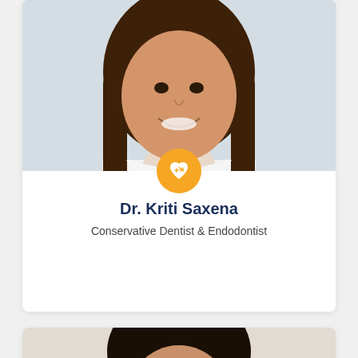[Figure (photo): Photo of Dr. Kriti Saxena, a female doctor smiling in a white lab coat with long dark hair]
Dr. Kriti Saxena
Conservative Dentist & Endodontist
[Figure (photo): Photo of a second doctor, partially visible, dark hair, light background]